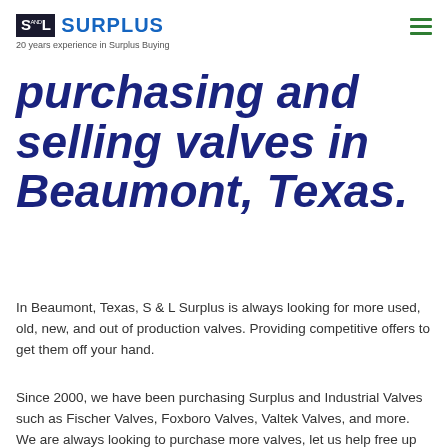S AND L SURPLUS — 20 years experience in Surplus Buying
purchasing and selling valves in Beaumont, Texas.
In Beaumont, Texas, S & L Surplus is always looking for more used, old, new, and out of production valves. Providing competitive offers to get them off your hand.
Since 2000, we have been purchasing Surplus and Industrial Valves such as Fischer Valves, Foxboro Valves, Valtek Valves, and more. We are always looking to purchase more valves, let us help free up